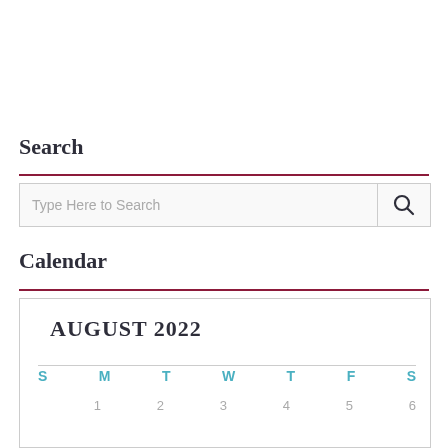Search
[Figure (other): Search input box with placeholder text 'Type Here to Search' and a magnifying glass icon button on the right]
Calendar
| S | M | T | W | T | F | S |
| --- | --- | --- | --- | --- | --- | --- |
|  | 1 | 2 | 3 | 4 | 5 | 6 |